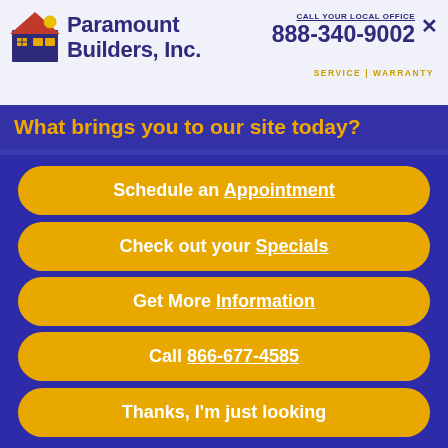CALL YOUR LOCAL OFFICE 888-340-9002
[Figure (logo): Paramount Builders, Inc. logo with house icon]
SERVICE | WARRANTY
What brings you to our site today?
Schedule an Appointment
Check out your Specials
Get More Information
Call 866-677-4585
Thanks, I'm just looking